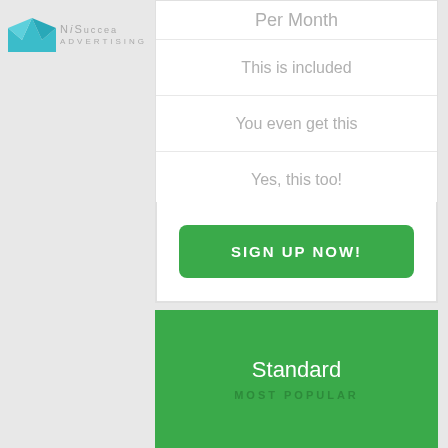[Figure (logo): Blue origami crown/envelope logo with text 'NiSuccea Advertising' in light gray]
Per Month
This is included
You even get this
Yes, this too!
SIGN UP NOW!
Standard
MOST POPULAR